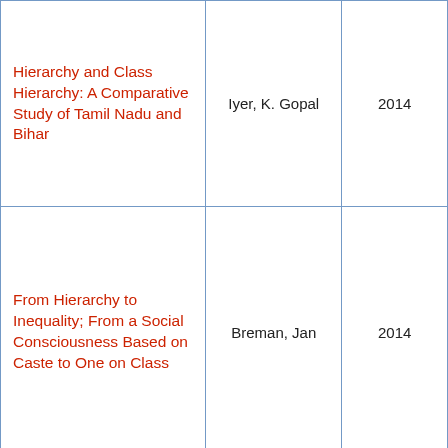| Hierarchy and Class
Hierarchy: A Comparative Study of Tamil Nadu and Bihar | Iyer, K. Gopal | 2014 |
| From Hierarchy to Inequality; From a Social Consciousness Based on Caste to One on Class | Breman, Jan | 2014 |
| Caste Hierarchies and Substantive Discrimination | Kumar, Y. and Sab, D.C. | 2014 |